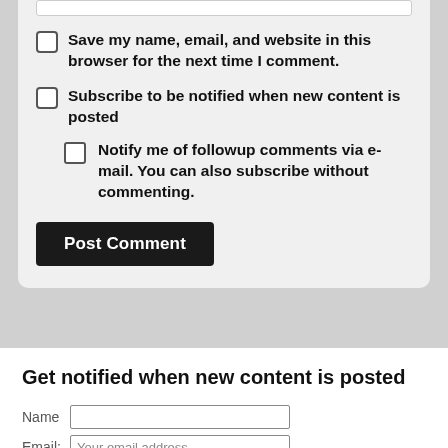Save my name, email, and website in this browser for the next time I comment.
Subscribe to be notified when new content is posted
Notify me of followup comments via e-mail. You can also subscribe without commenting.
Post Comment
Get notified when new content is posted
Name
Email: Your email address
Subscribe